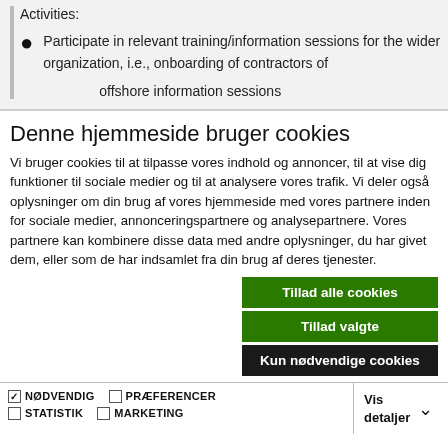Activities:
Participate in relevant training/information sessions for the wider organization, i.e., onboarding of contractors of
    offshore information sessions
Denne hjemmeside bruger cookies
Vi bruger cookies til at tilpasse vores indhold og annoncer, til at vise dig funktioner til sociale medier og til at analysere vores trafik. Vi deler også oplysninger om din brug af vores hjemmeside med vores partnere inden for sociale medier, annonceringspartnere og analysepartnere. Vores partnere kan kombinere disse data med andre oplysninger, du har givet dem, eller som de har indsamlet fra din brug af deres tjenester.
Tillad alle cookies
Tillad valgte
Kun nødvendige cookies
NØDVENDIG  PRÆFERENCER  STATISTIK  MARKETING  Vis detaljer